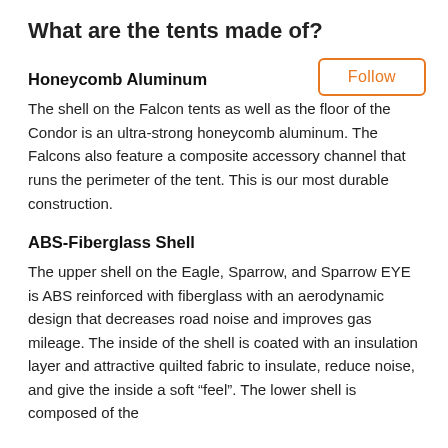What are the tents made of?
Honeycomb Aluminum
The shell on the Falcon tents as well as the floor of the Condor is an ultra-strong honeycomb aluminum. The Falcons also feature a composite accessory channel that runs the perimeter of the tent. This is our most durable construction.
ABS-Fiberglass Shell
The upper shell on the Eagle, Sparrow, and Sparrow EYE  is ABS reinforced with fiberglass with an aerodynamic design that decreases road noise and improves gas mileage. The inside of the shell is coated with an insulation layer and attractive quilted fabric to insulate, reduce noise, and give the inside a soft “feel”. The lower shell is composed of the